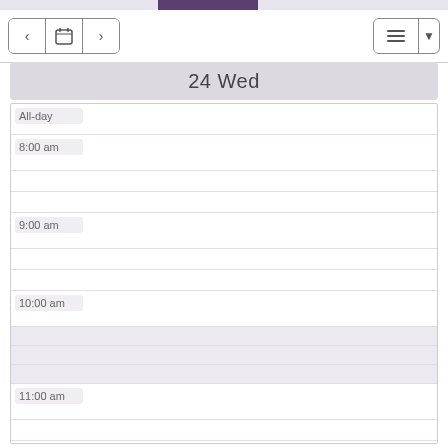[Figure (screenshot): Calendar app day view showing Wednesday the 24th with time slots from All-day through 1:00 pm]
24 Wed
All-day
8:00 am
9:00 am
10:00 am
11:00 am
12:00 pm
1:00 pm